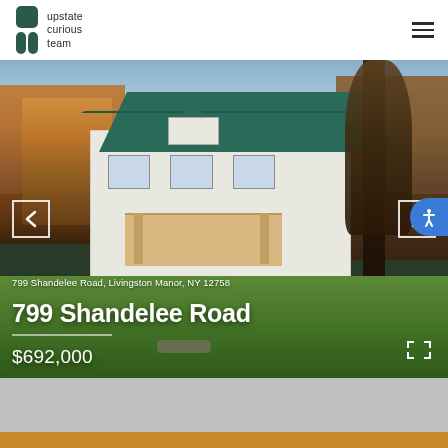[Figure (logo): Upstate Curious Team logo with two dark teal rounded square shapes and text]
upstate curious team
[Figure (photo): Exterior photo of a white farmhouse with green metal roof surrounded by trees and green lawn in autumn, Livingston Manor NY]
799 Shandelee Road, Livingston Manor, NY 12758
799 Shandelee Road
$692,000